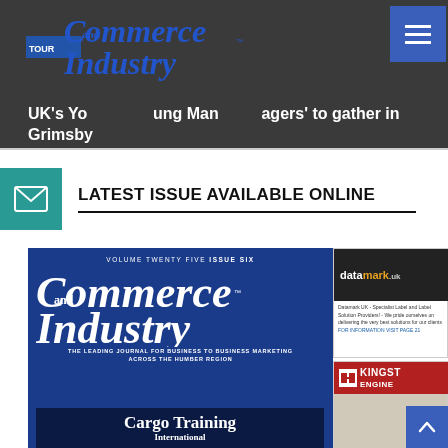Commerce and Industry
UK's Young Managers' to gather in Grimsby
LATEST ISSUE AVAILABLE ONLINE
[Figure (photo): Commerce and Industry magazine cover, Volume Twenty Five Issue Six, showing blue background with large masthead logo, tagline 'The Leading Journal for Business to Business Marketing Across the Humber Region', Cargo Training article teaser, and side advertisements for Datamark UK and Kingston Engineering.]